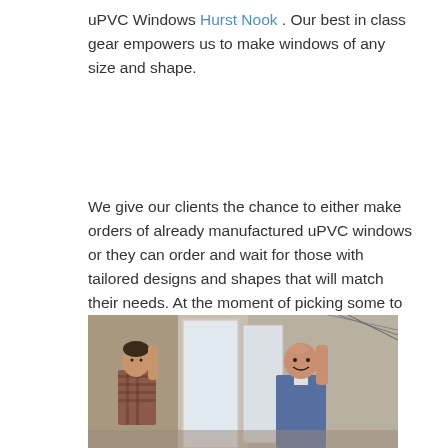uPVC Windows Hurst Nook . Our best in class gear empowers us to make windows of any size and shape.
We give our clients the chance to either make orders of already manufactured uPVC windows or they can order and wait for those with tailored designs and shapes that will match their needs. At the moment of picking some to solve your uPVC windows issues, the best people in Hurst Nook are the uPVC Windows Hurst Nook uPVC window manufacturers.
[Figure (photo): Two workers in a uPVC window manufacturing facility, holding and handling large white uPVC window frames. One worker wears a checked shirt, the other wears a blue work jacket. Background shows workshop with various frames and equipment.]